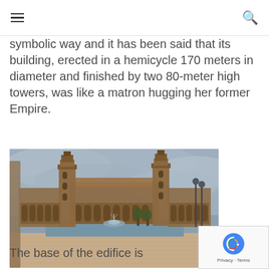symbolic way and it has been said that its building, erected in a hemicycle 170 meters in diameter and finished by two 80-meter high towers, was like a matron hugging her former Empire.
[Figure (photo): Photograph of Plaza de España in Seville, Spain, showing the curved Renaissance Revival building with its towers, a fountain, and the moat canal in the foreground under a cloudy grey sky.]
The base of the edifice is